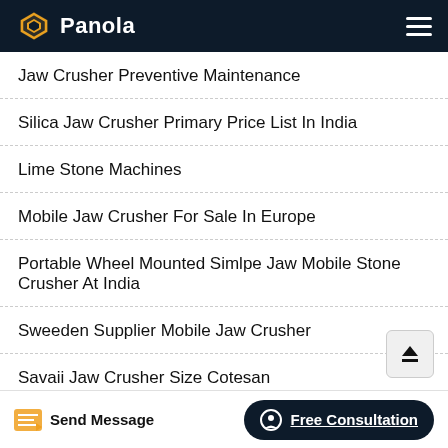Panola
Jaw Crusher Preventive Maintenance
Silica Jaw Crusher Primary Price List In India
Lime Stone Machines
Mobile Jaw Crusher For Sale In Europe
Portable Wheel Mounted Simlpe Jaw Mobile Stone Crusher At India
Sweeden Supplier Mobile Jaw Crusher
Savaii Jaw Crusher Size Cotesan
Send Message | Free Consultation